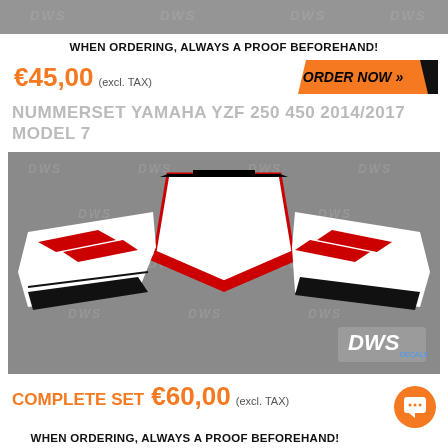[Figure (illustration): Top gray banner with DWS watermark logo repeated]
WHEN ORDERING, ALWAYS A PROOF BEFOREHAND!
€45,00 (excl. TAX)
ORDER NOW >>
NUMMERSET YAMAHA YZF 250 450 2014/2017 MODEL 7
[Figure (illustration): Product image showing Yamaha YZF number plate decal set with white, red, and black design on gray watermarked background. Three panels shown: two side shroud decals with red slash graphics and one front number plate with YZF logo. DWS Decals logo in bottom right.]
COMPLETE SET €60,00 (excl. TAX)
WHEN ORDERING, ALWAYS A PROOF BEFOREHAND!